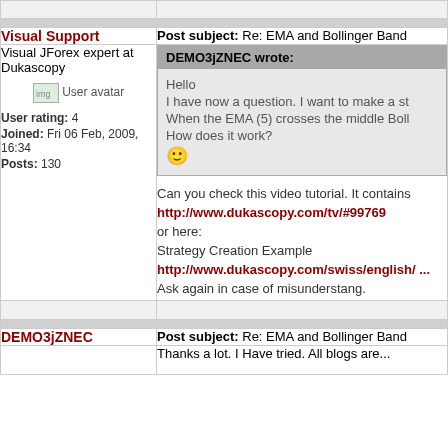| Visual Support | Post subject: Re: EMA and Bollinger Band |
| --- | --- |
| Visual JForex expert at Dukascopy
[User avatar]
User rating: 4
Joined: Fri 06 Feb, 2009, 16:34
Posts: 130 | DEMO3jZNEC wrote:
Hello
I have now a question. I want to make a st...
When the EMA (5) crosses the middle Boll...
How does it work?
[emoji]

Can you check this video tutorial. It contains...
http://www.dukascopy.com/tv/#99769
or here:
Strategy Creation Example
http://www.dukascopy.com/swiss/english/ ...
Ask again in case of misunderstang. |
| DEMO3jZNEC | Post subject: Re: EMA and Bollinger Band |
| --- | --- |
|  | Thanks a lot. I Have tried. All blogs are... |